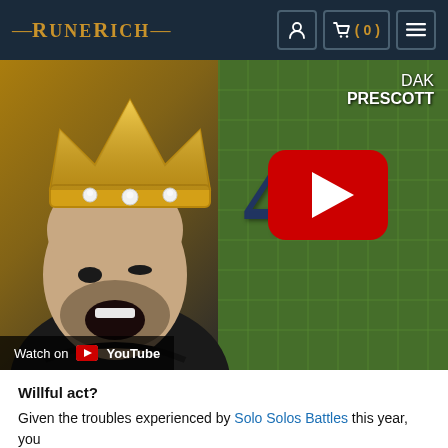RuneRich — navigation header with cart (0) and menu icons
[Figure (screenshot): YouTube video thumbnail showing a man with a gold crown reacting expressively, with Dak Prescott NFL graphics in the background and a YouTube play button overlay. 'Watch on YouTube' text appears at the bottom left.]
Willful act?
Given the troubles experienced by Solo Solos Battles this year, you